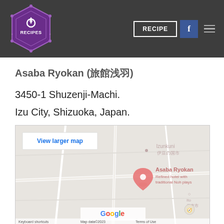No Recipes — RECIPE | Facebook | Menu
Asaba Ryokan (浅羽旅館)
3450-1 Shuzenji-Machi.
Izu City, Shizuoka, Japan.
[Figure (map): Google map showing location of Asaba Ryokan in Shuzenji-Machi, Izu City, Japan. A pink location pin marks Asaba Ryokan with label 'Refined hotel with traditional Noh plays'. Map footer shows Google logo and 'Keyboard shortcuts | Map data ©2023 | Terms of Use'.]
Full disclosure: The room at Asaba Ryokan was